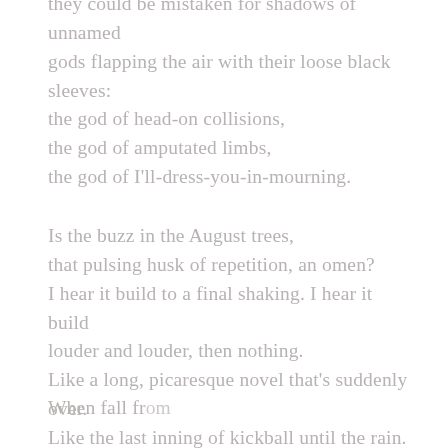they could be mistaken for shadows of unnamed gods flapping the air with their loose black sleeves:
the god of head-on collisions,
the god of amputated limbs,
the god of I'll-dress-you-in-mourning.
Is the buzz in the August trees,
that pulsing husk of repetition, an omen?
I hear it build to a final shaking. I hear it build louder and louder, then nothing.
Like a long, picaresque novel that's suddenly over.
Like the last inning of kickball until the rain.
When fall fr...